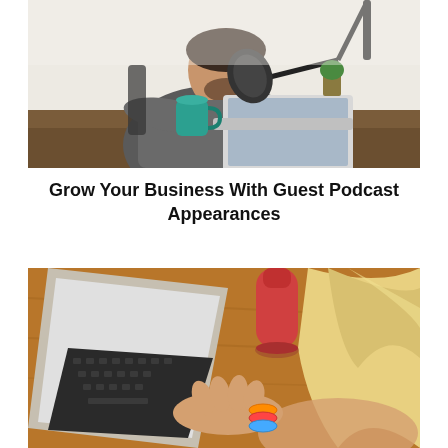[Figure (photo): Man sitting at a desk in a home studio, working on a laptop with a professional podcast microphone in front of him. A teal/green coffee mug is on the desk. The setting has white brick walls and wooden furniture.]
Grow Your Business With Guest Podcast Appearances
[Figure (photo): Overhead view of a blonde woman using a laptop on a wooden table. A red water bottle is visible on the table. The woman is wearing colorful bracelets.]